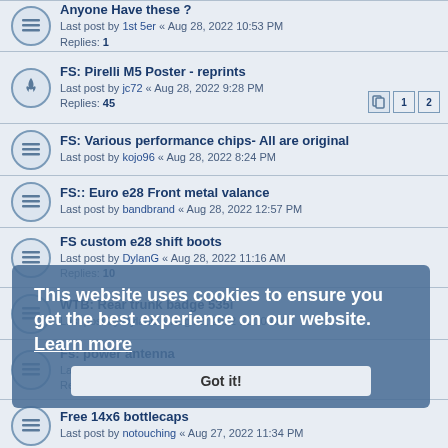Anyone Have these ? - Last post by 1st 5er « Aug 28, 2022 10:53 PM - Replies: 1
FS: Pirelli M5 Poster - reprints - Last post by jc72 « Aug 28, 2022 9:28 PM - Replies: 45
FS: Various performance chips- All are original - Last post by kojo96 « Aug 28, 2022 8:24 PM
FS:: Euro e28 Front metal valance - Last post by bandbrand « Aug 28, 2022 12:57 PM
FS custom e28 shift boots - Last post by DylanG « Aug 28, 2022 11:16 AM - Replies: 10
WTB: Rear trunk badge 535i - Last post by DylanG « Aug 28, 2022 11:10 AM
Fs: power antenna - Last post by DylanG « Aug 28, 2022 11:00 AM - Replies: 1
Free 14x6 bottlecaps - Last post by notouching « Aug 27, 2022 11:34 PM
Free comfort seats and covers - Last post by notouching « Aug 27, 2022 11:32 PM
FS: manual swap out of a 1984 533i
This website uses cookies to ensure you get the best experience on our website. Learn more
Got it!